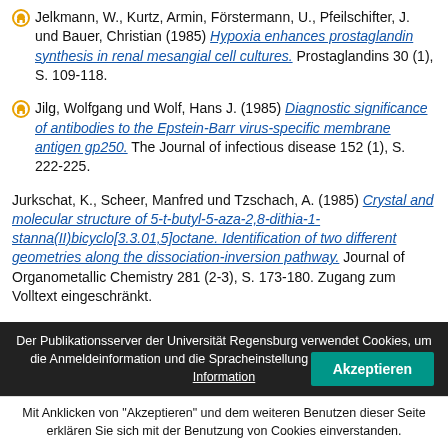Jelkmann, W., Kurtz, Armin, Förstermann, U., Pfeilschifter, J. und Bauer, Christian (1985) Hypoxia enhances prostaglandin synthesis in renal mesangial cell cultures. Prostaglandins 30 (1), S. 109-118.
Jilg, Wolfgang und Wolf, Hans J. (1985) Diagnostic significance of antibodies to the Epstein-Barr virus-specific membrane antigen gp250. The Journal of infectious disease 152 (1), S. 222-225.
Jurkschat, K., Scheer, Manfred und Tzschach, A. (1985) Crystal and molecular structure of 5-t-butyl-5-aza-2,8-dithia-1-stanna(II)bicyclo[3.3.01,5]octane. Identification of two different geometries along the dissociation-inversion pathway. Journal of Organometallic Chemistry 281 (2-3), S. 173-180. Zugang zum Volltext eingeschränkt.
Kalbitzer, Hans Robert, Lebermann, R. und Wittinghofer, A. (1985) 1H-NMR spectroscopy on elongation factor Tu from Escherichia coli.
Der Publikationsserver der Universität Regensburg verwendet Cookies, um die Anmeldeinformation und die Spracheinstellung zu speichern. Mehr Information
Mit Anklicken von "Akzeptieren" und dem weiteren Benutzen dieser Seite erklären Sie sich mit der Benutzung von Cookies einverstanden.